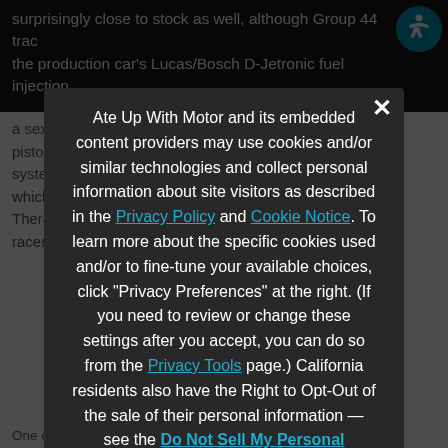surprisingly close to stock as well, although Group 44 trac the production car's Lucas/Bosch D-Jetronic fuel injection
a sextet of Weber 44IDF carburetors, along with new pistons, re profiled camshafts, and a new dry-sump oil system. The updated engine made 154 hp (115 kW), which Group 44 later revised upward to 530 hp/D2 kW. There w but the racers a
Ate Up With Motor and its embedded content providers may use cookies and/or similar technologies and collect personal information about site visitors as described in the Privacy Policy and Cookie Notice. To learn more about the specific cookies used and/or to fine-tune your available choices, click "Privacy Preferences" at the right. (If you need to review or change these settings after you accept, you can do so from the Privacy Tools page.) California residents also have the Right to Opt-Out of the sale of their personal information — see the Do Not Sell My Personal Information page.
› Privacy Preferences
I Agree
One of the Group 44/Triumph TR8 Sebring...